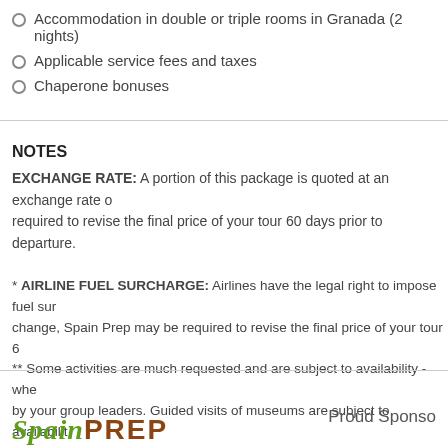Accommodation in double or triple rooms in Granada (2 nights)
Applicable service fees and taxes
Chaperone bonuses
NOTES
EXCHANGE RATE: A portion of this package is quoted at an exchange rate of... required to revise the final price of your tour 60 days prior to departure.
* AIRLINE FUEL SURCHARGE: Airlines have the legal right to impose fuel surcharges. Should they change, Spain Prep may be required to revise the final price of your tour 60 days prior to departure.
** Some activities are much requested and are subject to availability - when unavailable, an alternative will be offered by your group leaders. Guided visits of museums are subject to availability.
*** As an alternative to home stays, students can also stay in local hotels
Proud Sponsor
[Figure (logo): Spain PREP logo with 'Spain' in green italic and 'PREP' in brown bold letters]